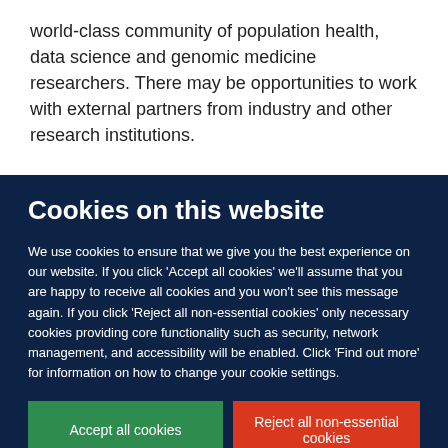world-class community of population health, data science and genomic medicine researchers. There may be opportunities to work with external partners from industry and other research institutions.
Cookies on this website
We use cookies to ensure that we give you the best experience on our website. If you click 'Accept all cookies' we'll assume that you are happy to receive all cookies and you won't see this message again. If you click 'Reject all non-essential cookies' only necessary cookies providing core functionality such as security, network management, and accessibility will be enabled. Click 'Find out more' for information on how to change your cookie settings.
Accept all cookies | Reject all non-essential cookies | Find out more